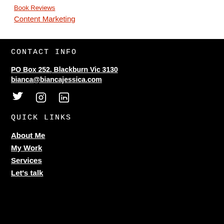Book Reviews
Content Marketing
CONTACT INFO
PO Box 252, Blackburn Vic 3130
bianca@biancajessica.com
[Figure (infographic): Social media icons: Twitter bird, Instagram camera, LinkedIn square logo]
QUICK LINKS
About Me
My Work
Services
Let's talk